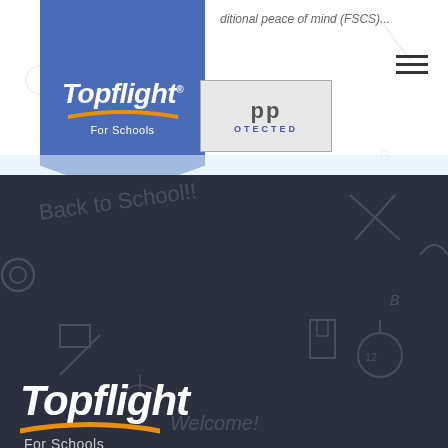[Figure (logo): Topflight For Schools logo badge in blue shield shape at top of page]
ditional peace of mind (FSCS)...
[Figure (logo): OPP PROTECTED partial badge/logo]
[Figure (logo): Topflight For Schools logo in white on dark footer background]
Important Information
GDPR and Data Protection
Payment Terms & Conditions
Terms & Conditions